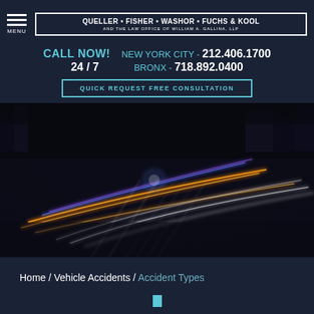MENU | QUELLER • FISHER • WASHOR • FUCHS & KOOL AND THE LAW OFFICE OF WILLIAM A. GALLINA, LLP
CALL NOW! NEW YORK CITY - 212.406.1700 24 / 7 BRONX - 718.892.0400
QUICK REQUEST FREE CONSULTATION
[Figure (photo): Night time long-exposure photo of city traffic with colorful light trails (white, orange, blue, purple) streaking across a dark urban scene]
Home / Vehicle Accidents / Accident Types